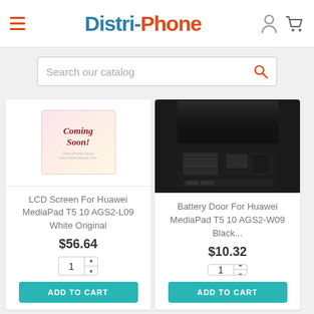Distri-Phone
Search our catalog
LCD Screen For Huawei MediaPad T5 10 AGS2-L09 White Original
$56.64
Battery Door For Huawei MediaPad T5 10 AGS2-W09 Black...
$10.32